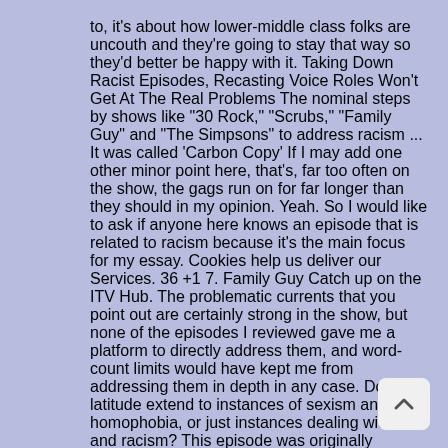to, it's about how lower-middle class folks are uncouth and they're going to stay that way so they'd better be happy with it. Taking Down Racist Episodes, Recasting Voice Roles Won't Get At The Real Problems The nominal steps by shows like "30 Rock," "Scrubs," "Family Guy" and "The Simpsons" to address racism ... It was called 'Carbon Copy' If I may add one other minor point here, that's, far too often on the show, the gags run on for far longer than they should in my opinion. Yeah. So I would like to ask if anyone here knows an episode that is related to racism because it's the main focus for my essay. Cookies help us deliver our Services. 36 +1 7. Family Guy Catch up on the ITV Hub. The problematic currents that you point out are certainly strong in the show, but none of the episodes I reviewed gave me a platform to directly address them, and word-count limits would have kept me from addressing them in depth in any case. Does the latitude extend to instances of sexism and homophobia, or just instances dealing with race and racism? This episode was originally produced under the title "Stand Your Brown", a play on the
[Figure (other): Scroll-to-top button: a light gray rounded square with an upward-pointing chevron icon]